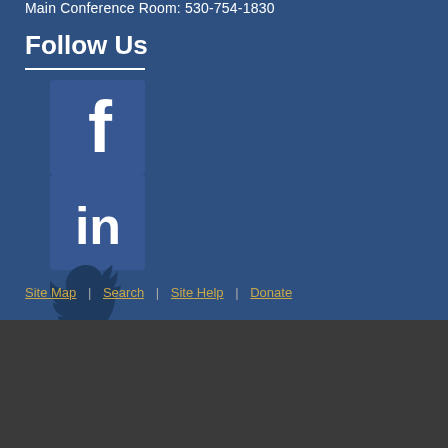Main Conference Room: 530-754-1830
Follow Us
[Figure (illustration): Facebook social media icon - square blue icon with white F logo]
[Figure (illustration): LinkedIn social media icon - square blue icon with white 'in' logo]
[Figure (illustration): Twitter social media icon - bird logo in dark blue]
Site Map | Search | Site Help | Donate
For questions about this website, please email support@primal.ucdavis.edu .
This page was last updated on June 11, 2020.